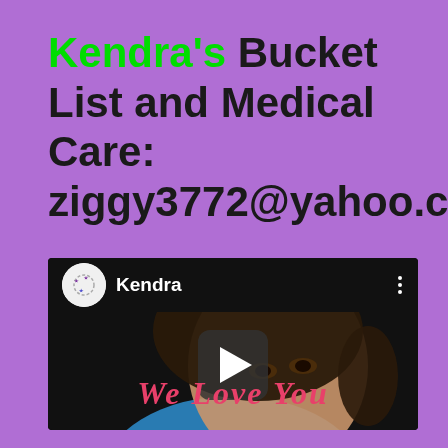Kendra's Bucket List and Medical Care: ziggy3772@yahoo.com
[Figure (screenshot): A video player screenshot showing a young woman's face close-up, with a profile bar at the top showing 'Kendra' with a circular avatar logo, a three-dot menu icon, a play button in the center, and 'We Love You' text in pink/red at the bottom.]